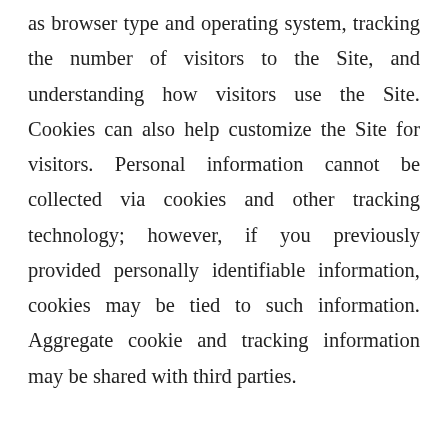as browser type and operating system, tracking the number of visitors to the Site, and understanding how visitors use the Site. Cookies can also help customize the Site for visitors. Personal information cannot be collected via cookies and other tracking technology; however, if you previously provided personally identifiable information, cookies may be tied to such information. Aggregate cookie and tracking information may be shared with third parties.